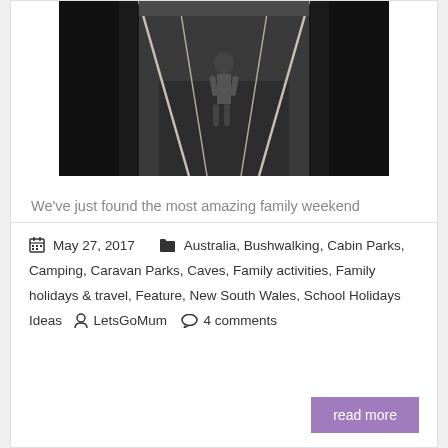[Figure (photo): Person standing on a walkway or bridge between dark rock walls, viewed from behind, in a cave or gorge setting.]
We've just found the most amazing family weekend getaway only a few hours from Sydney – it's cheap, full of wildlife and has great caves and bushwalks to explore. If you love camping and adventure on a family-friendly scale, you're going to love Wombeyan Caves! We've just spent a wonderful few days at Wombeyan Caves, located in [...]
May 27, 2017  Australia, Bushwalking, Cabin Parks, Camping, Caravan Parks, Caves, Family activities, Family holidays & travel, Feature, New South Wales, School Holidays Ideas  LetsGoMum  4 comments